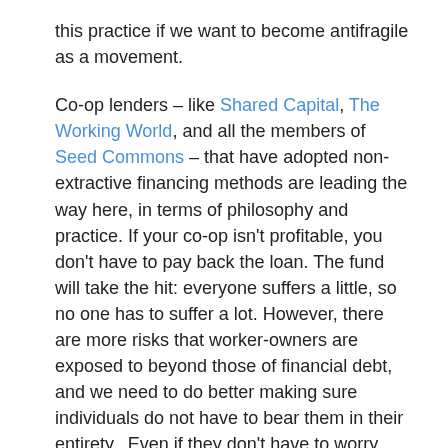this practice if we want to become antifragile as a movement.
Co-op lenders – like Shared Capital, The Working World, and all the members of Seed Commons – that have adopted non-extractive financing methods are leading the way here, in terms of philosophy and practice. If your co-op isn't profitable, you don't have to pay back the loan. The fund will take the hit: everyone suffers a little, so no one has to suffer a lot. However, there are more risks that worker-owners are exposed to beyond those of financial debt, and we need to do better making sure individuals do not have to bear them in their entirety.  Even if they don't have to worry about debt, worker-owners of struggling co-ops still have to pay the rent and put food on the table. We need to be sharing these burdens too. This was true before the coronavirus, and it's even more the case now.